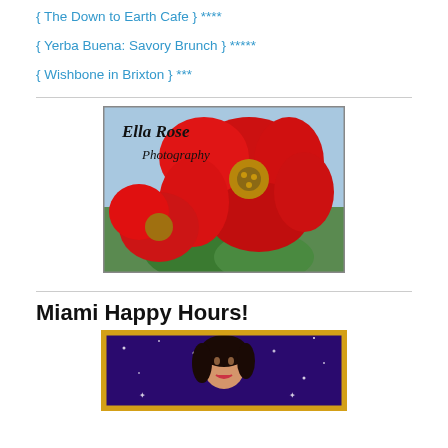{ The Down to Earth Cafe } ****
{ Yerba Buena: Savory Brunch } *****
{ Wishbone in Brixton } ***
[Figure (photo): Ella Rose Photography logo with red roses on a scenic background]
Miami Happy Hours!
[Figure (photo): Miami Happy Hours image showing a vintage-style woman portrait with purple starry background in golden frame]